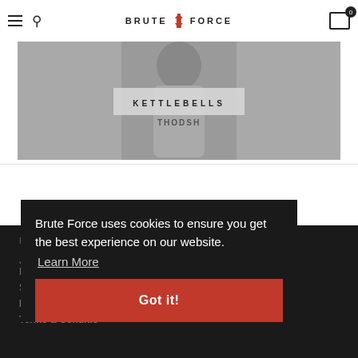Brute Force — navigation bar with hamburger menu, search, logo, and cart (0)
[Figure (photo): Person wearing a grey hoodie with 'THODSH' text visible, shown from shoulders up, black and white/grey toned photo with 'KETTLEBELLS' label overlay in center]
MORE INFO
Join Our Ambassador Program
Shipping & Returns Policy
Privacy Policy
Terms & Conditions
Brute Force uses cookies to ensure you get the best experience on our website. Learn More
Got it!